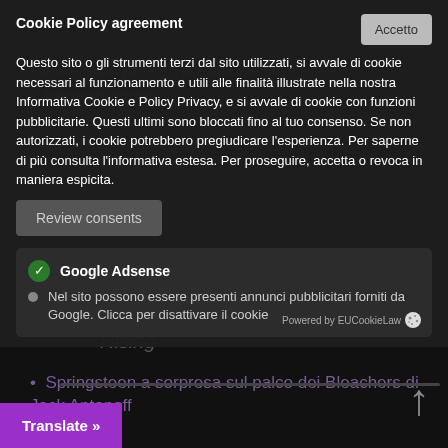Bruce Springsteen: il live ufficiale del mese e
Rising
Springsteen a sorpresa sul palco dei Bleachers di Jack Antonoff
Backstreets.com
23 Luglio 2009: Bruce Springsteen & The E Street Band – STADIO FRIULI, UDINE
Cookie Policy agreement
Questo sito o gli strumenti terzi dal sito utilizzati, si avvale di cookie necessari al funzionamento e utili alle finalità illustrate nella nostra Informativa Cookie e Policy Privacy, e si avvale di cookie con funzioni pubblicitarie. Questi ultimi sono bloccati fino al tuo consenso. Se non autorizzati, i cookie potrebbero pregiudicare l'esperienza. Per saperne di più consulta l'informativa estesa. Per proseguire, accetta o revoca in maniera espicita.
Review consents
Google Adsense
Nel sito possono essere presenti annunci pubblicitari forniti da Google. Clicca per disattivare il cookie
Powered by EUCookieLaw
Translate »